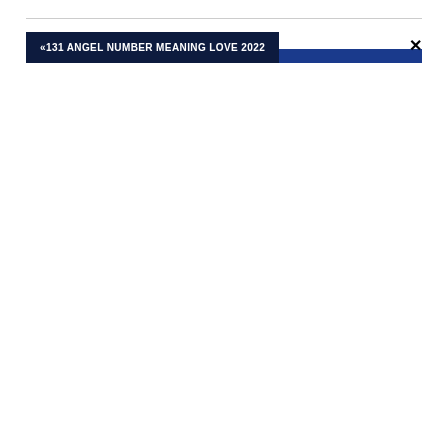« 131 ANGEL NUMBER MEANING LOVE 2022